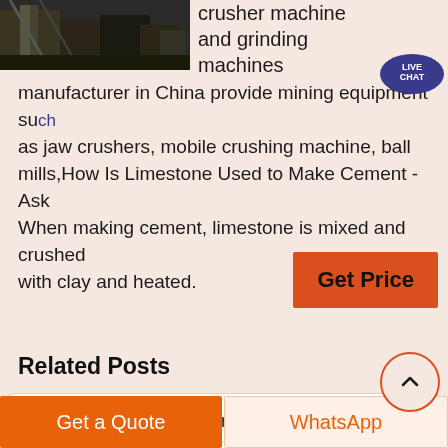[Figure (photo): Industrial mining/crushing equipment photograph, dark tones with machinery visible]
crusher machine and grinding machines manufacturer in China provide mining equipment such as jaw crushers, mobile crushing machine, ball mills,How Is Limestone Used to Make Cement - Ask When making cement, limestone is mixed and crushed with clay and heated.
Get Price
Related Posts
process diagram hammer     washing screw classifier
cisco stone crusher machine reducer of ball grinder
Get a Quote
WhatsApp